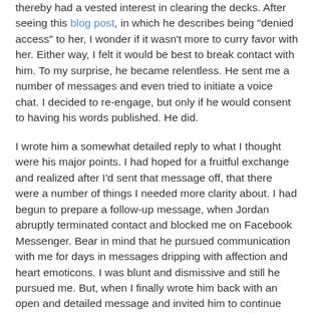thereby had a vested interest in clearing the decks. After seeing this blog post, in which he describes being "denied access" to her, I wonder if it wasn't more to curry favor with her. Either way, I felt it would be best to break contact with him. To my surprise, he became relentless. He sent me a number of messages and even tried to initiate a voice chat. I decided to re-engage, but only if he would consent to having his words published. He did.
I wrote him a somewhat detailed reply to what I thought were his major points. I had hoped for a fruitful exchange and realized after I'd sent that message off, that there were a number of things I needed more clarity about. I had begun to prepare a follow-up message, when Jordan abruptly terminated contact and blocked me on Facebook Messenger. Bear in mind that he pursued communication with me for days in messages dripping with affection and heart emoticons. I was blunt and dismissive and still he pursued me. But, when I finally wrote him back with an open and detailed message and invited him to continue with a meaningful exchange, he blocked me.
What follows is our entire exchange, copied verbatim from